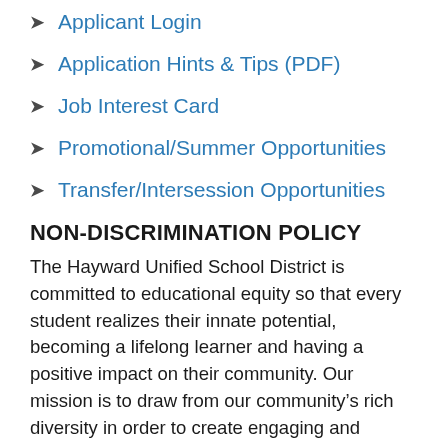Applicant Login
Application Hints & Tips (PDF)
Job Interest Card
Promotional/Summer Opportunities
Transfer/Intersession Opportunities
NON-DISCRIMINATION POLICY
The Hayward Unified School District is committed to educational equity so that every student realizes their innate potential, becoming a lifelong learner and having a positive impact on their community. Our mission is to draw from our community’s rich diversity in order to create engaging and equitable educational experiences for students, delivered in a safe and supportive environment. This environment supports inclusion, anti racism through an ethnic studies learner orientation and growth mindset. HUSD